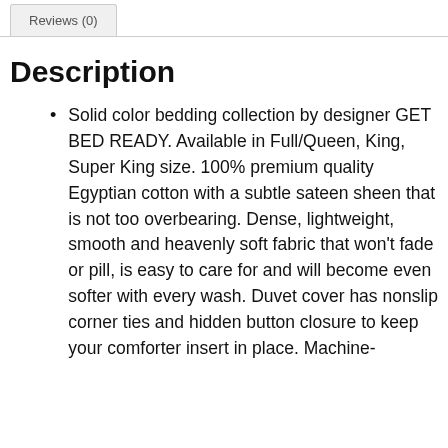Reviews (0)
Description
Solid color bedding collection by designer GET BED READY. Available in Full/Queen, King, Super King size. 100% premium quality Egyptian cotton with a subtle sateen sheen that is not too overbearing. Dense, lightweight, smooth and heavenly soft fabric that won't fade or pill, is easy to care for and will become even softer with every wash. Duvet cover has nonslip corner ties and hidden button closure to keep your comforter insert in place. Machine-